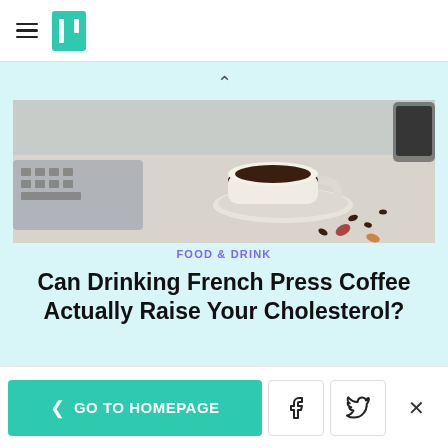HuffPost navigation header with hamburger menu and logo
[Figure (photo): Overhead view of a white coffee cup and saucer with coffee, coffee beans and spices scattered on a light background, with a keyboard visible on the left edge]
FOOD & DRINK
Can Drinking French Press Coffee Actually Raise Your Cholesterol?
[Figure (illustration): Illustration of a desk with a laptop open, pencil holder, a book, with sunburst rays emanating behind, on a light green background]